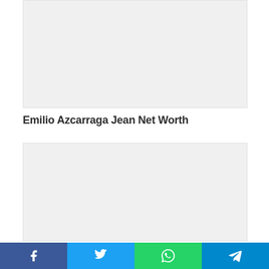[Figure (photo): Top image placeholder — light grey rectangle]
Emilio Azcarraga Jean Net Worth
[Figure (photo): Bottom image placeholder — light grey rectangle]
Social share bar with Facebook, Twitter, WhatsApp, Telegram icons